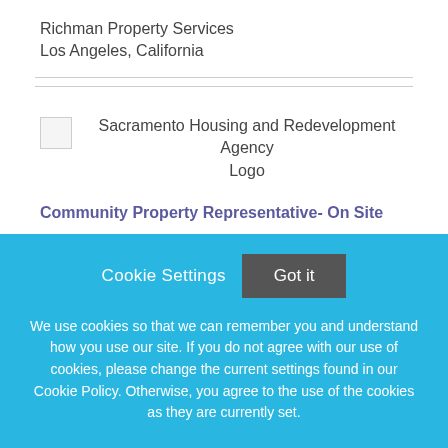Richman Property Services
Los Angeles, California
[Figure (logo): Sacramento Housing and Redevelopment Agency Logo placeholder image]
Community Property Representative- On Site
Sacramento Housing and Redevelopment Agency
Cookie Settings   Got it
We use cookies so that we can remember you and understand how you use our site. If you do not agree with our use of cookies, please change the current settings found in our Cookie Policy. Otherwise, you agree to the use of the cookies as they are currently set.